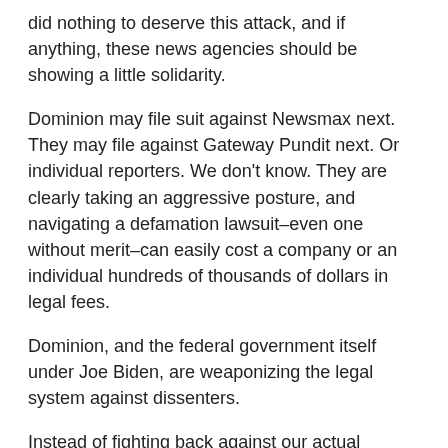did nothing to deserve this attack, and if anything, these news agencies should be showing a little solidarity.
Dominion may file suit against Newsmax next. They may file against Gateway Pundit next. Or individual reporters. We don't know. They are clearly taking an aggressive posture, and navigating a defamation lawsuit–even one without merit–can easily cost a company or an individual hundreds of thousands of dollars in legal fees.
Dominion, and the federal government itself under Joe Biden, are weaponizing the legal system against dissenters.
Instead of fighting back against our actual enemies, we're attacking each other.